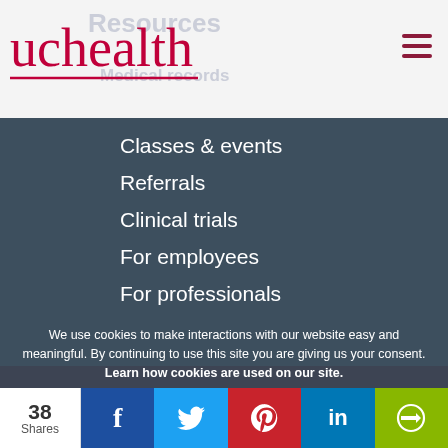[Figure (logo): UCHealth logo with red text and underline, with faded 'Resources' and 'Medical records' text visible behind]
Classes & events
Referrals
Clinical trials
For employees
For professionals
We use cookies to make interactions with our website easy and meaningful. By continuing to use this site you are giving us your consent. Learn how cookies are used on our site.
Accept terms
38 Shares